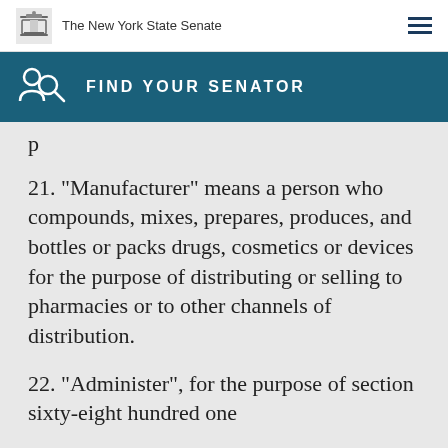The New York State Senate
FIND YOUR SENATOR
p
21. "Manufacturer" means a person who compounds, mixes, prepares, produces, and bottles or packs drugs, cosmetics or devices for the purpose of distributing or selling to pharmacies or to other channels of distribution.
22. "Administer", for the purpose of section sixty-eight hundred one